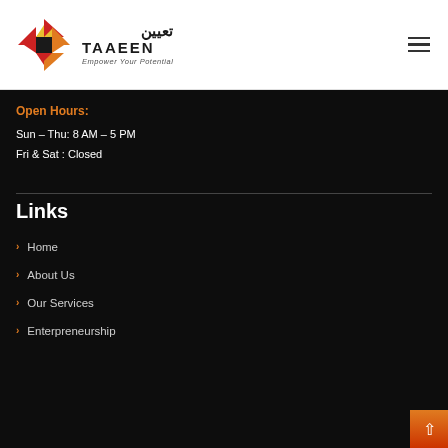[Figure (logo): Taaeen logo with geometric diamond pattern in red and orange/yellow colors, Arabic text, TAAEEN in bold, and tagline Empower Your Potential]
Open Hours:
Sun – Thu: 8 AM – 5 PM
Fri & Sat : Closed
Links
Home
About Us
Our Services
Enterpreneurship